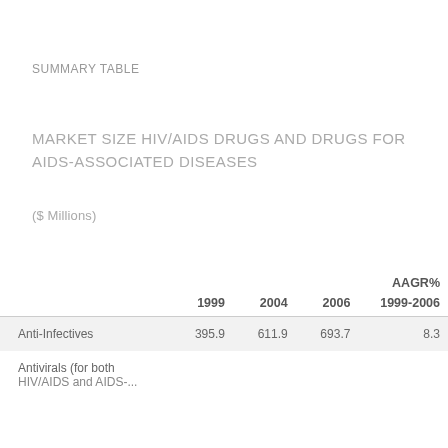SUMMARY TABLE
MARKET SIZE HIV/AIDS DRUGS AND DRUGS FOR AIDS-ASSOCIATED DISEASES
($ Millions)
|  | 1999 | 2004 | 2006 | AAGR% 1999-2006 |
| --- | --- | --- | --- | --- |
| Anti-Infectives | 395.9 | 611.9 | 693.7 | 8.3 |
| Antivirals (for both HIV/AIDS and AIDS-... |  |  |  |  |